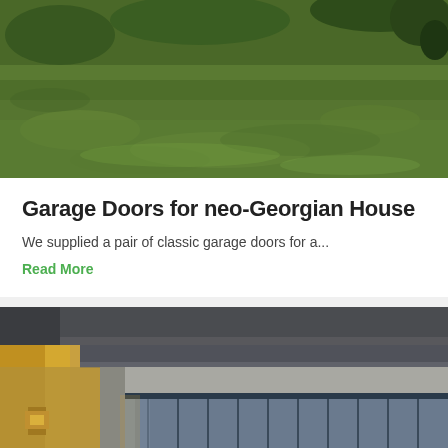[Figure (photo): Aerial/close-up view of a green lawn with grass, part of a garden or yard, with some plants visible at the top right corner.]
Garage Doors for neo-Georgian House
We supplied a pair of classic garage doors for a...
Read More
[Figure (photo): Close-up photo of a modern garage door with vertical ribbed blue/grey panels, partially open, with warm yellow lighting visible on the left side.]